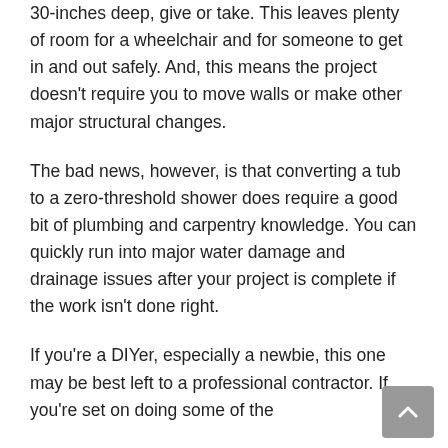30-inches deep, give or take. This leaves plenty of room for a wheelchair and for someone to get in and out safely. And, this means the project doesn't require you to move walls or make other major structural changes.
The bad news, however, is that converting a tub to a zero-threshold shower does require a good bit of plumbing and carpentry knowledge. You can quickly run into major water damage and drainage issues after your project is complete if the work isn't done right.
If you're a DIYer, especially a newbie, this one may be best left to a professional contractor. If you're set on doing some of the